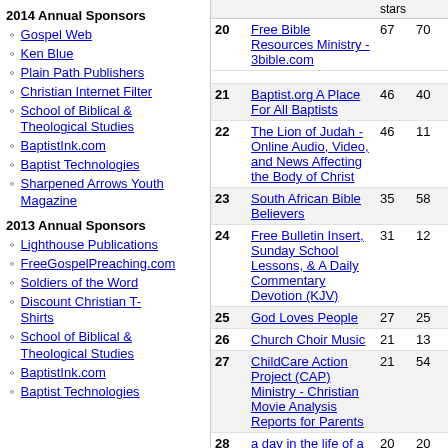2014 Annual Sponsors
Gospel Web
Ken Blue
Plain Path Publishers
Christian Internet Filter
School of Biblical & Theological Studies
BaptistInk.com
Baptist Technologies
Sharpened Arrows Youth Magazine
2013 Annual Sponsors
Lighthouse Publications
FreeGospelPreaching.com
Soldiers of the Word
Discount Christian T-Shirts
School of Biblical & Theological Studies
BaptistInk.com
Baptist Technologies
|  | Site | stars |  |
| --- | --- | --- | --- |
| 20 | Free Bible Resources Ministry - 3bible.com | 67 | 70 |
| 21 | Baptist.org A Place For All Baptists | 46 | 40 |
| 22 | The Lion of Judah - Online Audio, Video, and News Affecting the Body of Christ | 46 | 11 |
| 23 | South African Bible Believers | 35 | 58 |
| 24 | Free Bulletin Insert, Sunday School Lessons, & A Daily Commentary Devotion (KJV) | 31 | 12 |
| 25 | God Loves People | 27 | 25 |
| 26 | Church Choir Music | 21 | 13 |
| 27 | ChildCare Action Project (CAP) Ministry - Christian Movie Analysis Reports for Parents | 21 | 54 |
| 28 | a day in the life of a missionary wife | 20 | 20 |
| 29 | Dr Mike Bagwell (Verse-By-Verse Bible Studies Updated Daily) | 18 | 96 |
| 30 | Haven of Rest - IFB Ladies Message Board | 17 | 87 |
| 31 | Abba's Watchman - Babylon = Nuked ! Damascus a heap of ruin ! 4.00 stars | 16 | 87 |
| 32 | The Bible-Believing Fundamentalist - Daily audio Bible studies, sermon outlines, books | 16 | 21 |
| 33 | Cobblestone Road Ministries - Christian Apologetics, Bible | 15 | 50 |